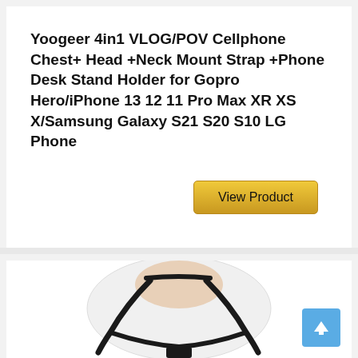Yoogeer 4in1 VLOG/POV Cellphone Chest+ Head +Neck Mount Strap +Phone Desk Stand Holder for Gopro Hero/iPhone 13 12 11 Pro Max XR XS X/Samsung Galaxy S21 S20 S10 LG Phone
[Figure (other): A view product button with golden/yellow background]
[Figure (photo): Product photo showing a mannequin torso wearing a white shirt with a black neck/chest mount strap]